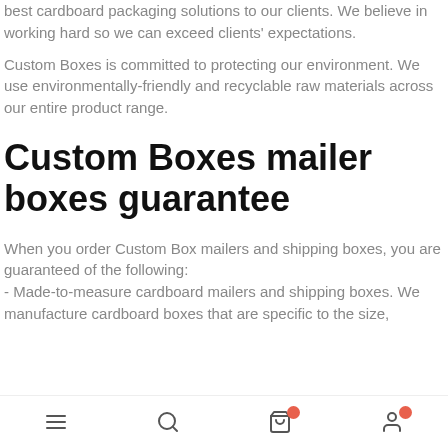best cardboard packaging solutions to our clients. We believe in working hard so we can exceed clients' expectations.
Custom Boxes is committed to protecting our environment. We use environmentally-friendly and recyclable raw materials across our entire product range.
Custom Boxes mailer boxes guarantee
When you order Custom Box mailers and shipping boxes, you are guaranteed of the following:
- Made-to-measure cardboard mailers and shipping boxes. We manufacture cardboard boxes that are specific to the size,
[navigation bar with icons]